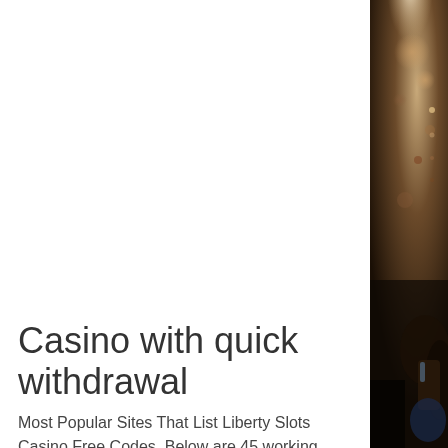[Figure (photo): Dark atmospheric casino/bar scene with bokeh lights, dark furniture, glass objects on a table, warm brown tones]
Casino with quick withdrawal
Most Popular Sites That List Liberty Slots Casino Free Codes. Below are 45 working coupons for Liberty Slots Casino Free Codes